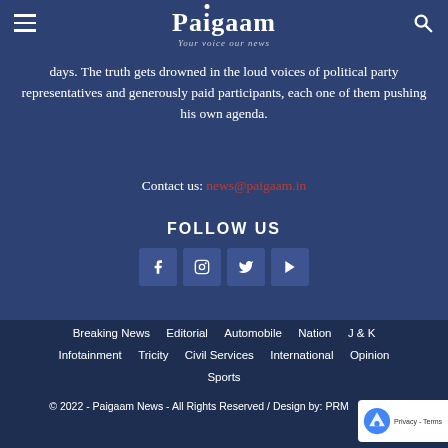[Figure (logo): Paigaam logo with tagline 'Your voice our news']
days. The truth gets drowned in the loud voices of political party representatives and generously paid participants, each one of them pushing his own agenda.
Contact us: news@paigaam.in
FOLLOW US
[Figure (infographic): Social media icons: Facebook, Instagram, Twitter, YouTube]
Breaking News  Editorial  Automobile  Nation  J & K  Infotainment  Tricity  Civil Services  International  Opinion  Sports
© 2022 - Paigaam News - All Rights Reserved / Design by: PRM